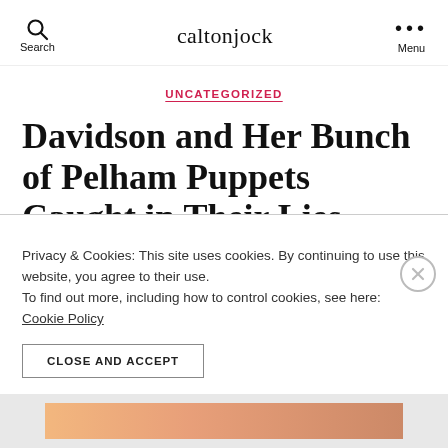Search | caltonjock | Menu
UNCATEGORIZED
Davidson and Her Bunch of Pelham Puppets Caught in Their Lies – Scots Will Vote
Privacy & Cookies: This site uses cookies. By continuing to use this website, you agree to their use.
To find out more, including how to control cookies, see here:
Cookie Policy
CLOSE AND ACCEPT